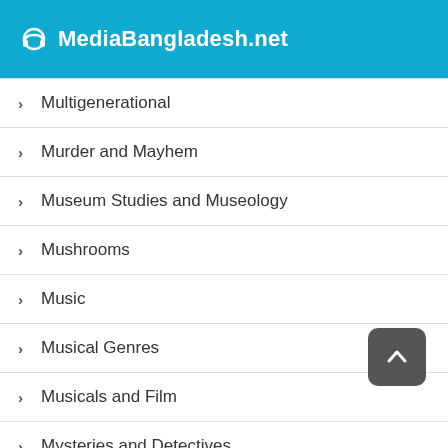MediaBangladesh.net
Multigenerational
Murder and Mayhem
Museum Studies and Museology
Mushrooms
Music
Musical Genres
Musicals and Film
Mysteries and Detectives
Mystery
National